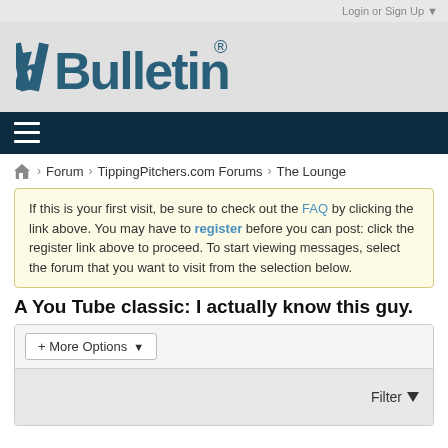Login or Sign Up ▼
[Figure (logo): vBulletin logo with registered trademark symbol]
≡ (hamburger menu icon)
🏠 > Forum > TippingPitchers.com Forums > The Lounge
If this is your first visit, be sure to check out the FAQ by clicking the link above. You may have to register before you can post: click the register link above to proceed. To start viewing messages, select the forum that you want to visit from the selection below.
A You Tube classic: I actually know this guy.
+ More Options ▾
Filter ▾